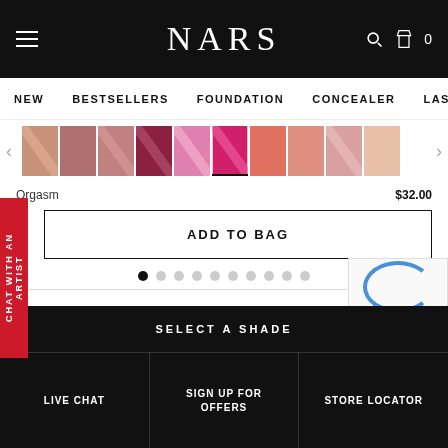NARS — Navigation: NEW | BESTSELLERS | FOUNDATION | CONCEALER | LAST
[Figure (screenshot): Color swatch carousel showing various lip/blush shades from nude to pink to red, with left/right arrows]
Orgasm   $32.00
ADD TO BAG
[Figure (other): Pagination dots, 10 dots with first filled]
ATINGS & REVIEWS
[Figure (screenshot): Partial reviewer avatar (blue circle)]
[Figure (screenshot): CAPTCHA widget partially visible]
SELECT A SHADE
LIVE CHAT | SIGN UP FOR OFFERS | STORE LOCATOR